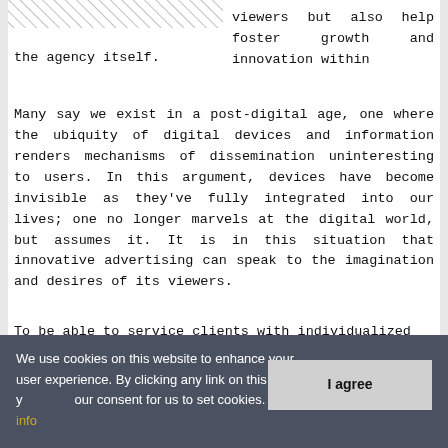viewers but also help foster growth and innovation within the agency itself.
Many say we exist in a post-digital age, one where the ubiquity of digital devices and information renders mechanisms of dissemination uninteresting to users. In this argument, devices have become invisible as they've fully integrated into our lives; one no longer marvels at the digital world, but assumes it. It is in this situation that innovative advertising can speak to the imagination and desires of its viewers.
To be able to service clients with individualized
We use cookies on this website to enhance your user experience. By clicking any link on this page you give your consent for us to set cookies. More info